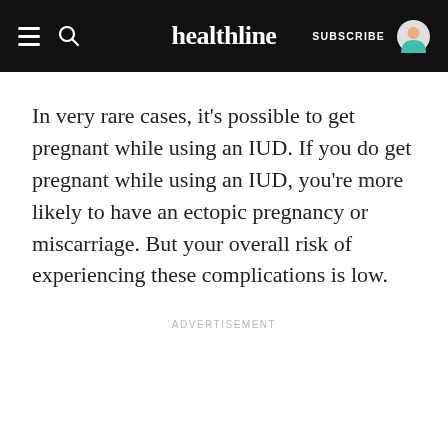healthline | SUBSCRIBE
In very rare cases, it’s possible to get pregnant while using an IUD. If you do get pregnant while using an IUD, you’re more likely to have an ectopic pregnancy or miscarriage. But your overall risk of experiencing these complications is low.
ADVERTISEMENT